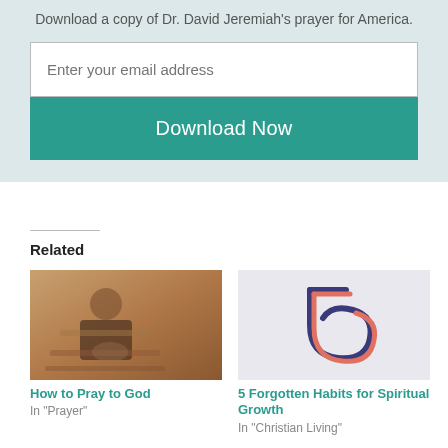Download a copy of Dr. David Jeremiah's prayer for America.
Enter your email address
Download Now
Related
[Figure (photo): Person praying in church pew, wearing a hat and dark jacket, hands clasped]
How to Pray to God
In "Prayer"
[Figure (illustration): Stylized number 5 made of curved lines in red/coral and navy blue on a light gray background]
5 Forgotten Habits for Spiritual Growth
In "Christian Living"